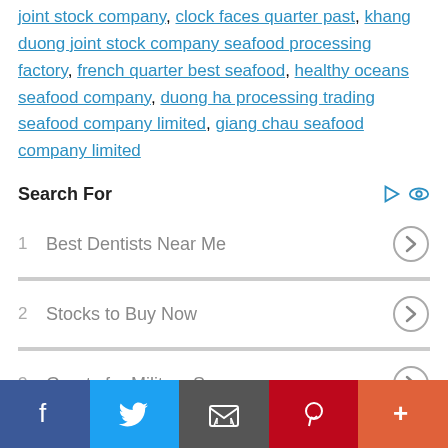joint stock company, clock faces quarter past, khang duong joint stock company seafood processing factory, french quarter best seafood, healthy oceans seafood company, duong ha processing trading seafood company limited, giang chau seafood company limited
Search For
1  Best Dentists Near Me
2  Stocks to Buy Now
3  Grants for Military Spouses
4  Psoriasis of the Scalp
Facebook | Twitter | Email | Pinterest | More